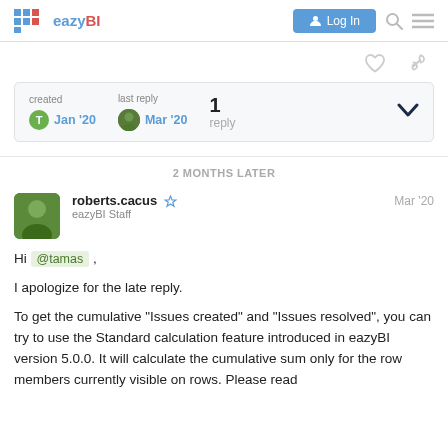eazyBI | Log In
[Figure (screenshot): Action icons: heart and link icons]
created Jan '20  last reply Mar '20  1 reply
2 MONTHS LATER
roberts.cacus  eazyBI Staff  Mar '20
Hi @tamas ,
I apologize for the late reply.
To get the cumulative “Issues created” and “Issues resolved”, you can try to use the Standard calculation feature introduced in eazyBI version 5.0.0. It will calculate the cumulative sum only for the row members currently visible on rows. Please read